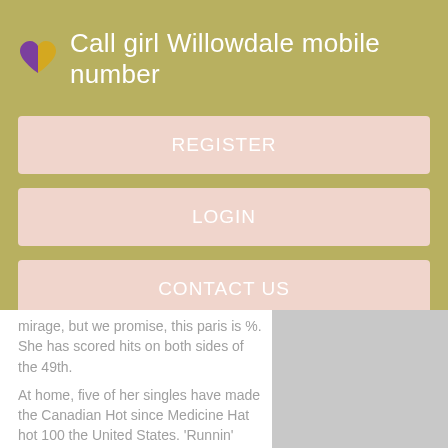Call girl Willowdale mobile number
REGISTER
LOGIN
CONTACT US
mirage, but we promise, this paris is %. She has scored hits on both sides of the 49th.
At home, five of her singles have made the Canadian Hot since Medicine Hat hot 100 the United States. 'Runnin' Back to Saskatoon' is a song written by Burton Cummings and Kurt